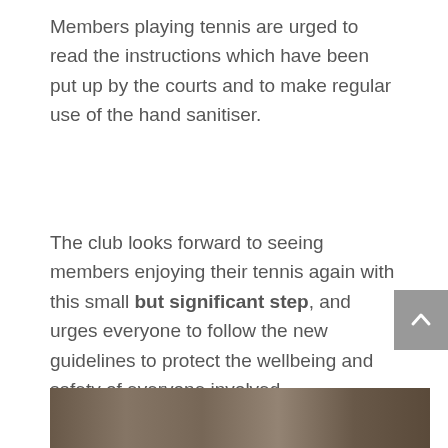Members playing tennis are urged to read the instructions which have been put up by the courts and to make regular use of the hand sanitiser.
The club looks forward to seeing members enjoying their tennis again with this small but significant step, and urges everyone to follow the new guidelines to protect the wellbeing and safety of everyone involved.
[Figure (photo): Partial photo strip visible at bottom of page showing people outdoors]